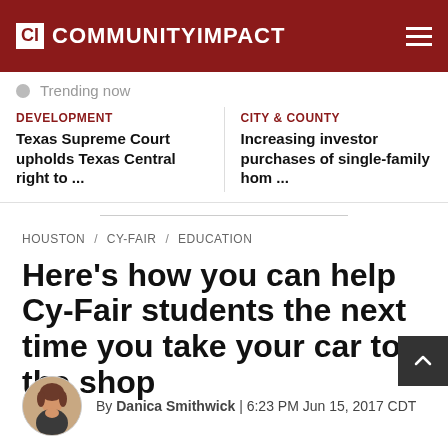CI COMMUNITYIMPACT
Trending now
DEVELOPMENT
Texas Supreme Court upholds Texas Central right to ...
CITY & COUNTY
Increasing investor purchases of single-family hom ...
HOUSTON / CY-FAIR / EDUCATION
Here's how you can help Cy-Fair students the next time you take your car to the shop
By Danica Smithwick | 6:23 PM Jun 15, 2017 CDT